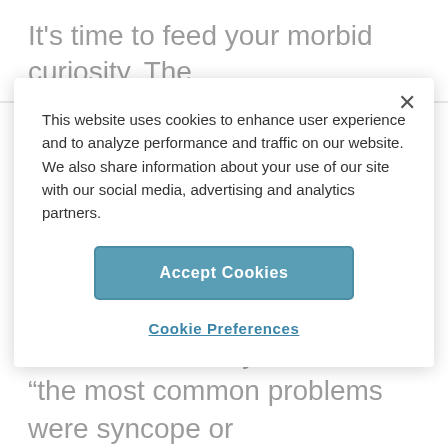It's time to feed your morbid curiosity. The
This website uses cookies to enhance user experience and to analyze performance and traffic on our website. We also share information about your use of our site with our social media, advertising and analytics partners.
Accept Cookies
Cookie Preferences
airlines over a period of a few years to gauge rates of in-flight medical emergency calls and their causes. They found that “the most common problems were syncope or